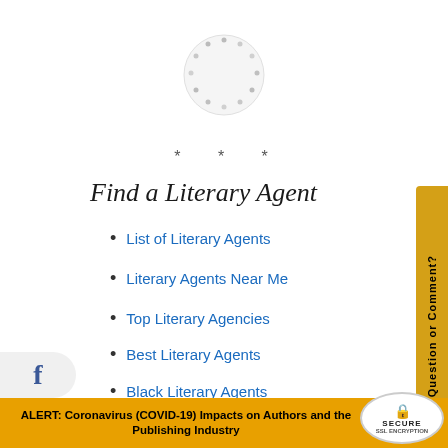[Figure (other): Circular loading spinner graphic, dots arranged in a circle on white background]
* * *
Find a Literary Agent
List of Literary Agents
Literary Agents Near Me
Top Literary Agencies
Best Literary Agents
Black Literary Agents
Christian Literary Agents
Literary Agent Directory
Question or Comment?
ALERT: Coronavirus (COVID-19) Impacts on Authors and the Publishing Industry